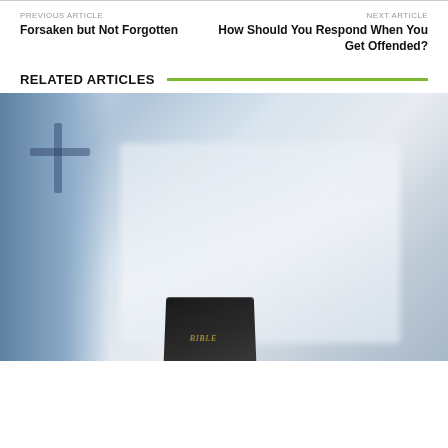PREVIOUS ARTICLE
Forsaken but Not Forgotten
NEXT ARTICLE
How Should You Respond When You Get Offended?
RELATED ARTICLES
[Figure (photo): Blurry photo of a church cross silhouette on the left side and a blurry building background with a Bible in the foreground at the bottom center.]